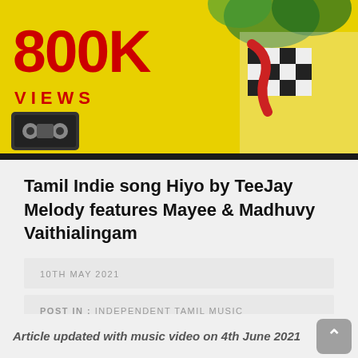[Figure (photo): Thumbnail image showing '800K VIEWS' text in red on yellow background with a cassette tape illustration and a person wearing a black-and-white checkered outfit with red scarf on the right side. A dark bar runs across the bottom of the image.]
Tamil Indie song Hiyo by TeeJay Melody features Mayee & Madhuvy Vaithialingam
10TH MAY 2021
POST IN : INDEPENDENT TAMIL MUSIC
Article updated with music video on 4th June 2021